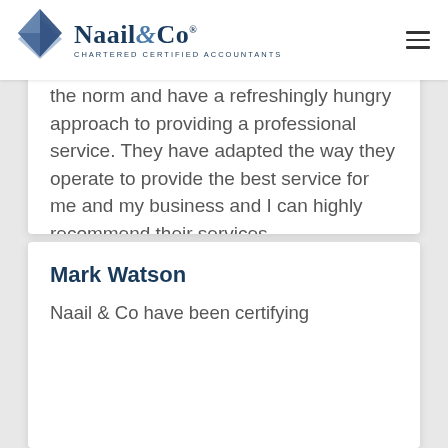Naail & Co — Chartered Certified Accountants
the norm and have a refreshingly hungry approach to providing a professional service. They have adapted the way they operate to provide the best service for me and my business and I can highly recommend their services.
Mark Watson
Naail & Co have been certifying